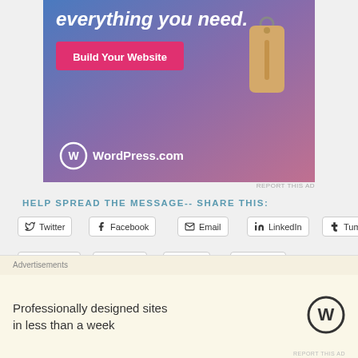[Figure (illustration): WordPress.com advertisement banner with blue-purple-pink gradient background, white italic text 'everything you need.' at top, pink 'Build Your Website' button, a hanging price tag illustration, and WordPress.com logo at bottom.]
REPORT THIS AD
HELP SPREAD THE MESSAGE-- SHARE THIS:
Twitter
Facebook
Email
LinkedIn
Tumblr
Pinterest
Reddit
Print
Pocket
Like
Advertisements
Professionally designed sites in less than a week
REPORT THIS AD